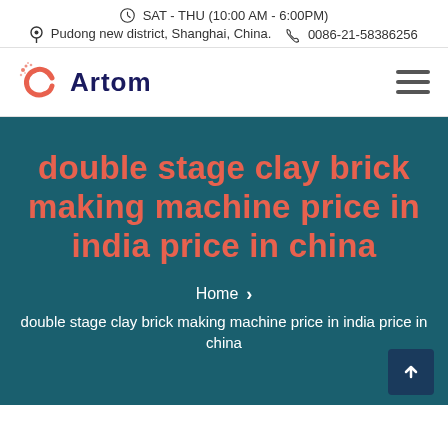SAT - THU (10:00 AM - 6:00PM)
Pudong new district, Shanghai, China.  0086-21-58386256
[Figure (logo): Artom company logo with orange C letter icon and dark blue Artom text]
double stage clay brick making machine price in india price in china
Home > double stage clay brick making machine price in india price in china